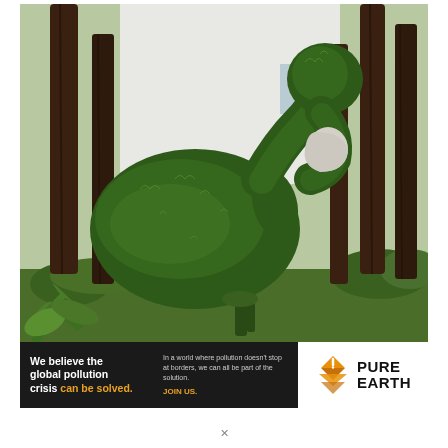[Figure (photo): Photograph of a topiary flamingo bird sculpture made of closely trimmed green hedging/bushes, in a garden setting with tall pine trees and a white building in the background. The green flamingo shape has a round head, curved neck, and rounded body.]
We believe the global pollution crisis can be solved. In a world where pollution doesn't stop at borders, we can all be part of the solution. JOIN US.
[Figure (logo): Pure Earth logo: orange diamond/chevron shape icon with layered triangles, next to bold text reading PURE EARTH in two lines]